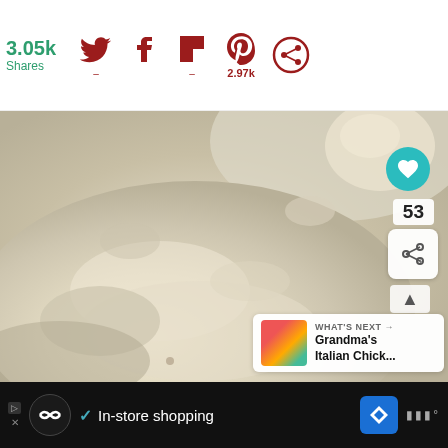[Figure (screenshot): Social share bar showing 3.05k Shares, Twitter icon, Facebook icon, Flipboard icon, Pinterest icon with 2.97k count, and a share/follow icon on white background]
[Figure (photo): Close-up photo of creamy dough or butter mixture in a mixing bowl, pale yellow/cream colored, soft texture]
53
WHAT'S NEXT → Grandma's Italian Chick...
In-store shopping